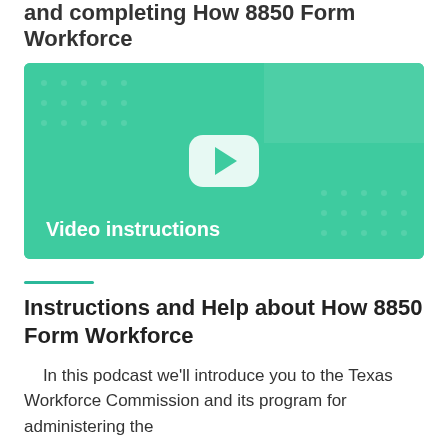and completing How 8850 Form Workforce
[Figure (screenshot): Video thumbnail with green background, YouTube-style play button in center, and 'Video instructions' label at bottom left]
Instructions and Help about How 8850 Form Workforce
In this podcast we'll introduce you to the Texas Workforce Commission and its program for administering the